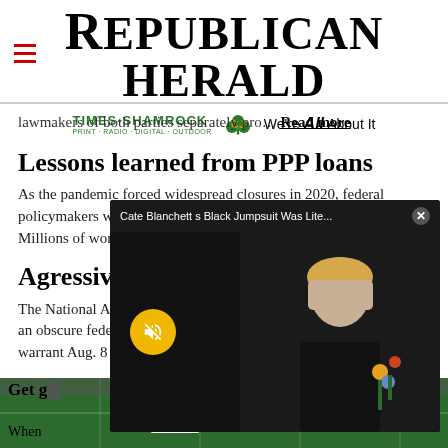REPUBLICAN HERALD — Times-Shamrock Print · Radio · Digital · Outdoor — We're All About It
lawmakers of both parties separately pro… Read more
Lessons learned from PPP loans
As the pandemic forced widespread closures in 2020, federal policymakers w... losses. Millions of work...
Agressive stance t...
The National Archives an obscure federal age... warrant Aug. 8 at form...
[Figure (screenshot): Video popup overlay: 'Cate Blanchett s Black Jumpsuit Was Lite...' with mute button and image of Cate Blanchett in black outfit holding flowers]
[Figure (infographic): Bottom advertisement banner: Werner Lumber Company – Tailgating Time! with football stadium background]
Get g... When...